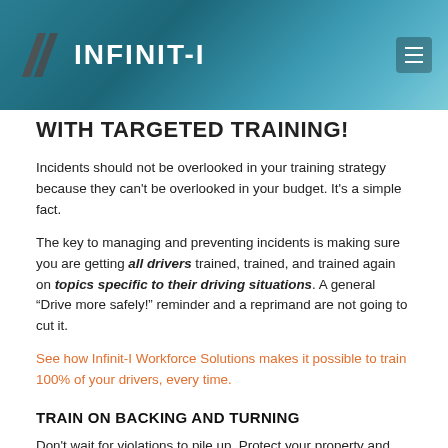INFINIT-I
WITH TARGETED TRAINING!
Incidents should not be overlooked in your training strategy because they can't be overlooked in your budget. It's a simple fact.
The key to managing and preventing incidents is making sure you are getting all drivers trained, trained, and trained again on topics specific to their driving situations. A general “Drive more safely!” reminder and a reprimand are not going to cut it.
See how Infinit-I Workforce Solutions makes it possible to train 100% of your drivers, every time.
TRAIN ON BACKING AND TURNING
Don't wait for violations to pile up. Protect your property and that of others and offer regularly scheduled, repeated training for backing and turning to prevent embarrassing